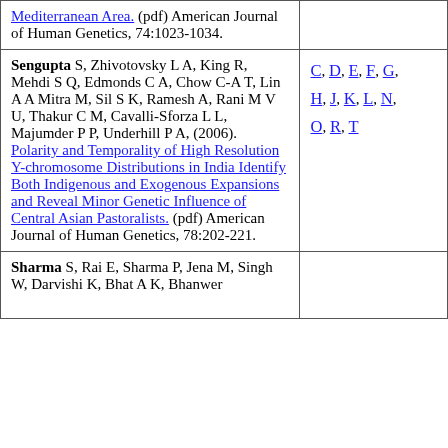| Reference | Letters |
| --- | --- |
| Mediterranean Area. (pdf) American Journal of Human Genetics, 74:1023-1034. |  |
| Sengupta S, Zhivotovsky L A, King R, Mehdi S Q, Edmonds C A, Chow C-A T, Lin A A Mitra M, Sil S K, Ramesh A, Rani M V U, Thakur C M, Cavalli-Sforza L L, Majumder P P, Underhill P A, (2006). Polarity and Temporality of High Resolution Y-chromosome Distributions in India Identify Both Indigenous and Exogenous Expansions and Reveal Minor Genetic Influence of Central Asian Pastoralists. (pdf) American Journal of Human Genetics, 78:202-221. | C, D, E, F, G, H, J, K, L, N, O, R, T |
| Sharma S, Rai E, Sharma P, Jena M, Singh W, Darvishi K, Bhat A K, Bhanwer |  |